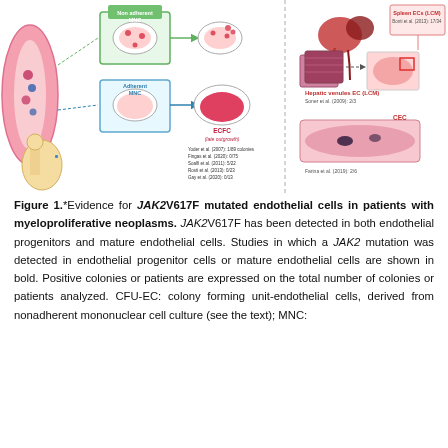[Figure (illustration): Scientific illustration showing isolation of endothelial progenitor cells (ECFCs and CFU-ECs) from blood/bone marrow mononuclear cells (MNC). Left side shows non-adherent MNC and adherent MNC culture dishes leading to ECFC (late outgrowth) colonies. Right side shows hepatic venules EC (LCM) with a 3D tissue block and histology section, Spleen ECs (LCM) with histology sections, and CEC (circulating endothelial cells) with a blood vessel cross-section. References listed include: Yoder et al. (2007): 1/89 colonies; Fingas et al. (2020): 0/75; Soalfi et al. (2011): 5/22; Rosti et al. (2013): 0/23; Gay et al. (2020): 0/13 for ECFC; Soner et al. (2009): 2/3 for Hepatic venules EC; Bonti et al. (2013): 17/34 for Spleen ECs; Farina et al. (2019): 2/6 for CEC.]
Figure 1.*Evidence for JAK2V617F mutated endothelial cells in patients with myeloproliferative neoplasms. JAK2V617F has been detected in both endothelial progenitors and mature endothelial cells. Studies in which a JAK2 mutation was detected in endothelial progenitor cells or mature endothelial cells are shown in bold. Positive colonies or patients are expressed on the total number of colonies or patients analyzed. CFU-EC: colony forming unit-endothelial cells, derived from nonadherent mononuclear cell culture (see the text); MNC: